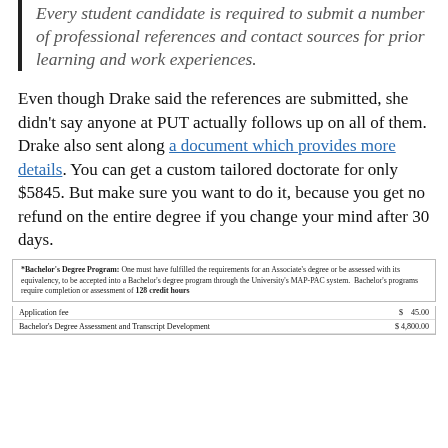Every student candidate is required to submit a number of professional references and contact sources for prior learning and work experiences.
Even though Drake said the references are submitted, she didn't say anyone at PUT actually follows up on all of them. Drake also sent along a document which provides more details. You can get a custom tailored doctorate for only $5845. But make sure you want to do it, because you get no refund on the entire degree if you change your mind after 30 days.
*Bachelor's Degree Program: One must have fulfilled the requirements for an Associate's degree or be assessed with its equivalency, to be accepted into a Bachelor's degree program through the University's MAP-PAC system. Bachelor's programs require completion or assessment of 128 credit hours
|  |  |
| --- | --- |
| Application fee | $    45.00 |
| Bachelor's Degree Assessment and Transcript Development | $ 4,800.00 |